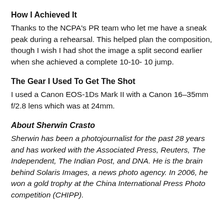How I Achieved It
Thanks to the NCPA's PR team who let me have a sneak peak during a rehearsal. This helped plan the composition, though I wish I had shot the image a split second earlier when she achieved a complete 10-10- 10 jump.
The Gear I Used To Get The Shot
I used a Canon EOS-1Ds Mark II with a Canon 16–35mm f/2.8 lens which was at 24mm.
About Sherwin Crasto
Sherwin has been a photojournalist for the past 28 years and has worked with the Associated Press, Reuters, The Independent, The Indian Post, and DNA. He is the brain behind Solaris Images, a news photo agency. In 2006, he won a gold trophy at the China International Press Photo competition (CHIPP).